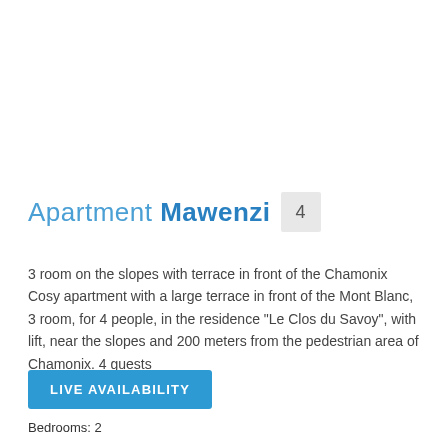Apartment Mawenzi 4
3 room on the slopes with terrace in front of the Chamonix Cosy apartment with a large terrace in front of the Mont Blanc, 3 room, for 4 people, in the residence "Le Clos du Savoy", with lift, near the slopes and 200 meters from the pedestrian area of Chamonix. 4 guests
LIVE AVAILABILITY
Bedrooms: 2